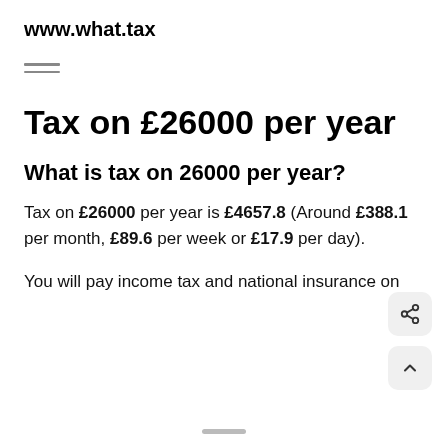www.what.tax
Tax on £26000 per year
What is tax on 26000 per year?
Tax on £26000 per year is £4657.8 (Around £388.1 per month, £89.6 per week or £17.9 per day).
You will pay income tax and national insurance on